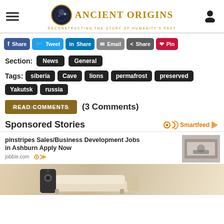Ancient Origins — Reconstructing the Story of Humanity's Past
Share | Tweet | Share | Email | Share | Pin
Section: News  General
Tags: siberia  Cave  lions  permafrost  preserved  Yakutsk  russia
Read the Comments (3 Comments)
Sponsored Stories
[Figure (screenshot): Sponsored ad: pinstripes Sales/Business Development Jobs in Ashburn Apply Now, jobble.com, with photo of business meeting]
[Figure (photo): Advertisement image showing modern sofa/speaker furniture]